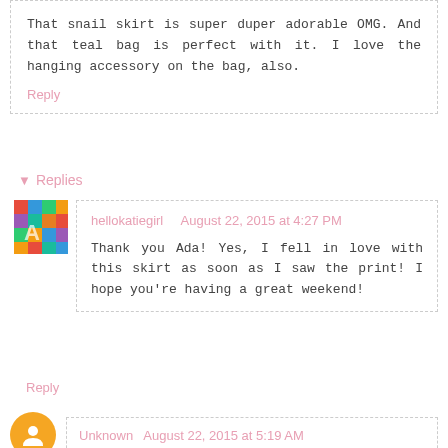That snail skirt is super duper adorable OMG. And that teal bag is perfect with it. I love the hanging accessory on the bag, also.
Reply
▼ Replies
hellokatiegirl   August 22, 2015 at 4:27 PM
Thank you Ada! Yes, I fell in love with this skirt as soon as I saw the print! I hope you're having a great weekend!
Reply
Unknown  August 22, 2015 at 5:19 AM